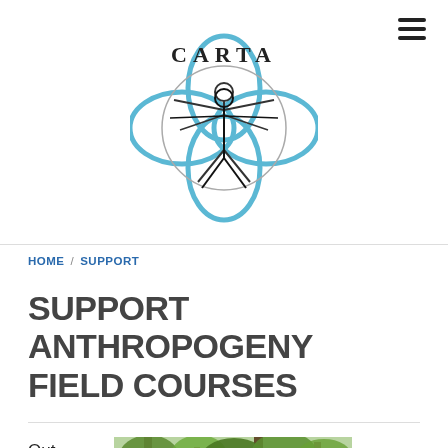[Figure (logo): CARTA logo: Vitruvian man-style figure with two overlapping human silhouettes inside a circle, surrounded by a blue petal/flower shape. Text 'CARTA' above the figure.]
HOME / SUPPORT
SUPPORT ANTHROPOGENY FIELD COURSES
Out
[Figure (photo): Outdoor nature photo showing trees/foliage with a figure or animal partially visible among the branches.]